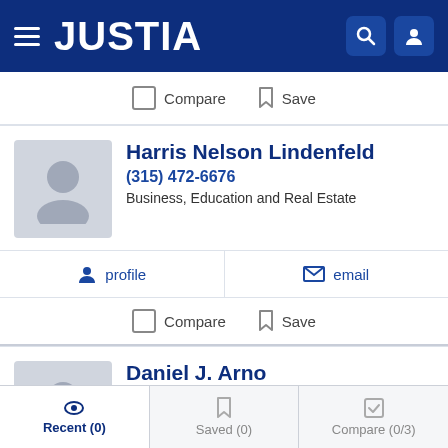JUSTIA
Compare  Save
Harris Nelson Lindenfeld
(315) 472-6676
Business, Education and Real Estate
profile   email
Compare  Save
Daniel J. Arno
(315) 458-3331
Business, Real Estate and Tax
Recent (0)   Saved (0)   Compare (0/3)